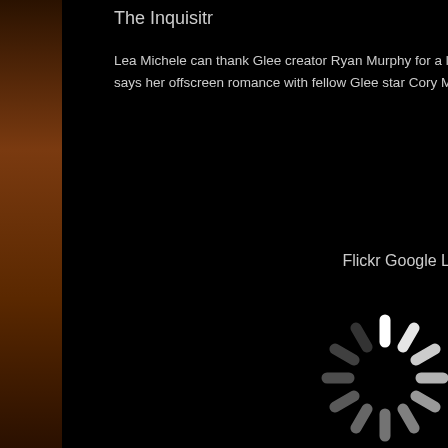The Inquisitr
Lea Michele can thank Glee creator Ryan Murphy for a lot mo... says her offscreen romance with fellow Glee star Cory Monte...
Flickr Google L...
[Figure (other): Loading spinner icon (white spokes on black) for Flickr/Google]
Youtube...
[Figure (other): Loading spinner icon (white spokes on black) for Youtube]
Twitte...
[Figure (other): Loading spinner icon (white spokes on black) for Twitter]